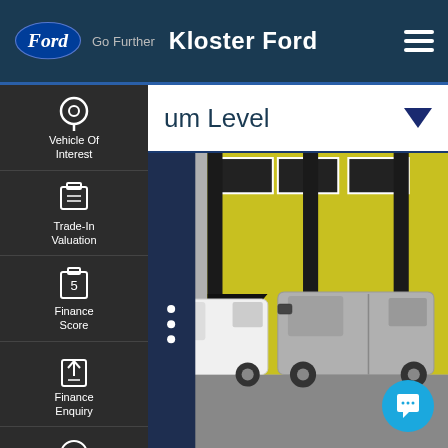Ford Go Further — Kloster Ford
um Level
Vehicle Of Interest
Trade-In Valuation
Finance Score
Finance Enquiry
Book A Test Drive
[Figure (photo): Two Ford Transit Custom vans parked in front of a yellow industrial structure. Left van is white, right van is silver/grey.]